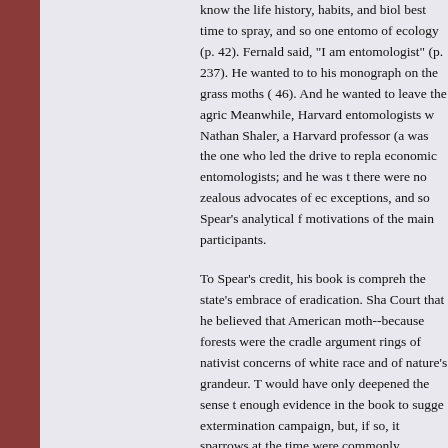know the life history, habits, and biol best time to spray, and so one entomo of ecology (p. 42). Fernald said, "I am entomologist" (p. 237). He wanted to to his monograph on the grass moths ( 46). And he wanted to leave the agric Meanwhile, Harvard entomologists w Nathan Shaler, a Harvard professor (a was the one who led the drive to repla economic entomologists; and he was t there were no zealous advocates of ec exceptions, and so Spear's analytical f motivations of the main participants.
To Spear's credit, his book is compreh the state's embrace of eradication. Sha Court that he believed that American moth--because forests were the cradle argument rings of nativist concerns of white race and of nature's grandeur. T would have only deepened the sense t enough evidence in the book to sugge extermination campaign, but, if so, it sparrows at the time were commonly